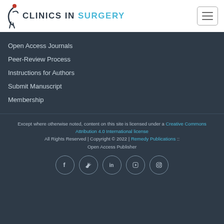[Figure (logo): Clinics in Surgery journal logo with abstract figure icon and text 'CLINICS IN SURGERY']
Open Access Journals
Peer-Review Process
Instructions for Authors
Submit Manuscript
Membership
Except where otherwise noted, content on this site is licensed under a Creative Commons Attribution 4.0 International license. All Rights Reserved | Copyright © 2022 | Remedy Publications :: Open Access Publisher